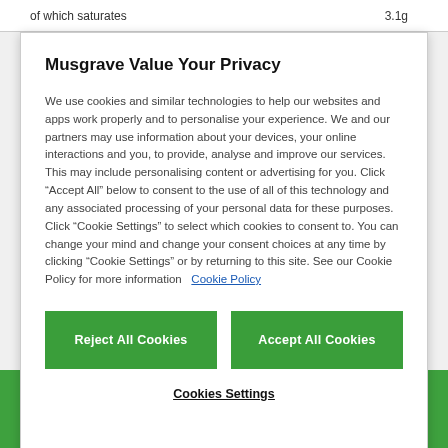| of which saturates | 3.1g |
| --- | --- |
Musgrave Value Your Privacy
We use cookies and similar technologies to help our websites and apps work properly and to personalise your experience. We and our partners may use information about your devices, your online interactions and you, to provide, analyse and improve our services. This may include personalising content or advertising for you. Click “Accept All” below to consent to the use of all of this technology and any associated processing of your personal data for these purposes. Click “Cookie Settings” to select which cookies to consent to. You can change your mind and change your consent choices at any time by clicking “Cookie Settings” or by returning to this site. See our Cookie Policy for more information  Cookie Policy
Reject All Cookies
Accept All Cookies
Cookies Settings
Add to trolley